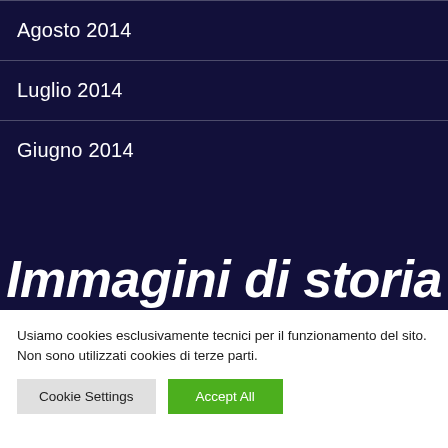Agosto 2014
Luglio 2014
Giugno 2014
Immagini di storia
Usiamo cookies esclusivamente tecnici per il funzionamento del sito. Non sono utilizzati cookies di terze parti.
Cookie Settings | Accept All